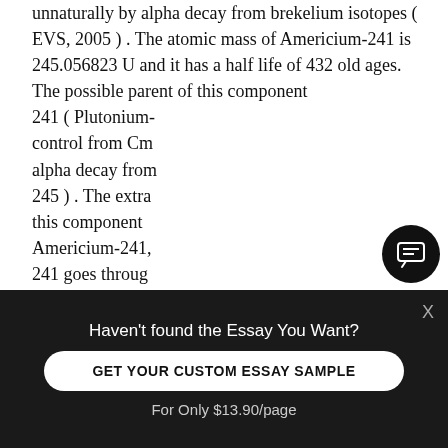unnaturally by alpha decay from brekelium isotopes ( EVS, 2005 ) . The atomic mass of Americium-241 is 245.056823 U and it has a half life of 432 old ages. The possible parent of this component 241 ( Plutonium-control from Cm alpha decay from 245 ) . The extra this component Americium-241, 241 goes throug
[Figure (screenshot): Chat widget popup with avatar of a woman with pink/red hair, greeting 'Hi! I'm Ulia', and message 'Would you like to get such a paper? How about receiving a customized one? Check it out']
Haven't found the Essay You Want?
GET YOUR CUSTOM ESSAY SAMPLE
For Only $13.90/page